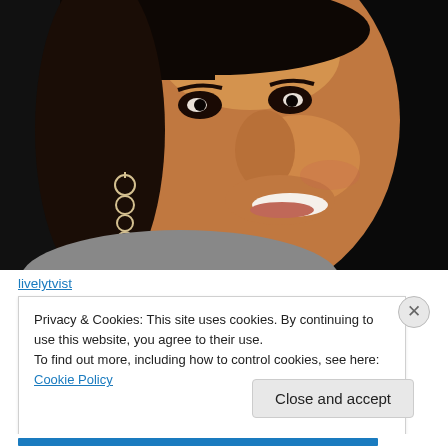[Figure (photo): Close-up portrait photo of a smiling woman with dark skin wearing dangling crystal/rhinestone earrings and a grey top, dark background]
livelytvist
Privacy & Cookies: This site uses cookies. By continuing to use this website, you agree to their use.
To find out more, including how to control cookies, see here: Cookie Policy
Close and accept